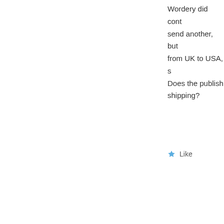Wordery did cont... send another, but from UK to USA, s... Does the publish... shipping?
★ Like
midwifethinking
November 16, 2018 at
I think the publis... Ask them. If not I... can do ie. send yo...
★ Like
Paula Billing says: